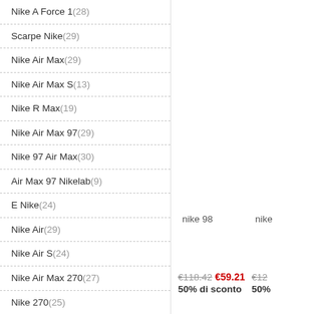Nike A Force 1 (28)
Scarpe Nike (29)
Nike Air Max (29)
Nike Air Max S (13)
Nike R Max (19)
Nike Air Max 97 (29)
Nike 97 Air Max (30)
Air Max 97 Nikelab (9)
E Nike (24)
Nike Air (29)
Nike Air S (24)
Nike Air Max 270 (27)
Nike 270 (25)
Nike R Max 270 (28)
Nike Off White (22)
Nike Huarache (27)
nike 98
nike
€118.42  €59.21  50% di sconto
€12... 50%